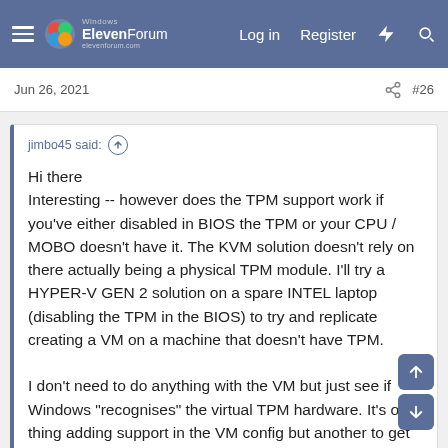Windows ElevenForum | Log in | Register
Jun 26, 2021
#26
jimbo45 said:
Hi there
Interesting -- however does the TPM support work if you've either disabled in BIOS the TPM or your CPU / MOBO doesn't have it. The KVM solution doesn't rely on there actually being a physical TPM module. I'll try a HYPER-V GEN 2 solution on a spare INTEL laptop (disabling the TPM in the BIOS) to try and replicate creating a VM on a machine that doesn't have TPM.

I don't need to do anything with the VM but just see if Windows "recognises" the virtual TPM hardware. It's one thing adding support in the VM config but another to get the Windows VM to recognise it. !! For instance if I disable TPM and don't run the TPM emulator then the